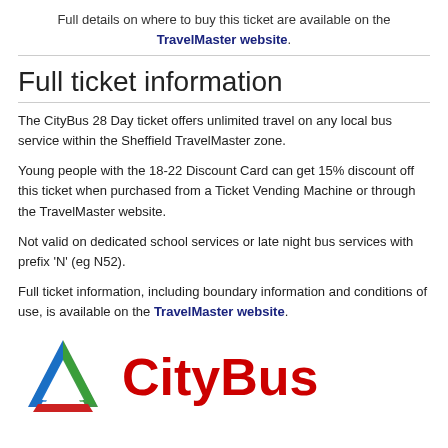Full details on where to buy this ticket are available on the TravelMaster website.
Full ticket information
The CityBus 28 Day ticket offers unlimited travel on any local bus service within the Sheffield TravelMaster zone.
Young people with the 18-22 Discount Card can get 15% discount off this ticket when purchased from a Ticket Vending Machine or through the TravelMaster website.
Not valid on dedicated school services or late night bus services with prefix ‘N’ (eg N52).
Full ticket information, including boundary information and conditions of use, is available on the TravelMaster website.
[Figure (logo): CityBus logo with a triangular ribbon icon in blue, green, and red, next to the text CityBus in bold red.]